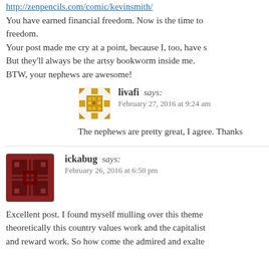http://zenpencils.com/comic/kevinsmith/
You have earned financial freedom. Now is the time to freedom.
Your post made me cry at a point, because I, too, have s But they'll always be the artsy bookworm inside me.
BTW, your nephews are awesome!
livafi says: February 27, 2016 at 9:24 am
The nephews are pretty great, I agree. Thanks
ickabug says: February 26, 2016 at 6:50 pm
Excellent post. I found myself mulling over this theme theoretically this country values work and the capitalist and reward work. So how come the admired and exalte